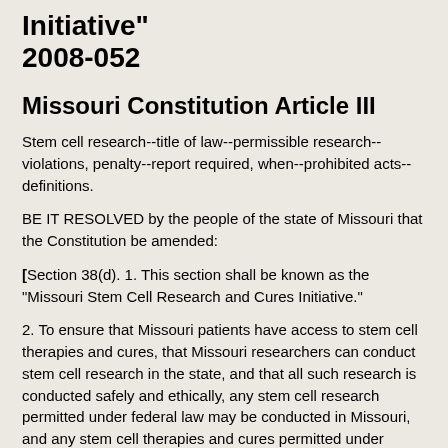Initiative"
2008-052
Missouri Constitution Article III
Stem cell research--title of law--permissible research--violations, penalty--report required, when--prohibited acts--definitions.
BE IT RESOLVED by the people of the state of Missouri that the Constitution be amended:
[Section 38(d). 1. This section shall be known as the "Missouri Stem Cell Research and Cures Initiative."
2. To ensure that Missouri patients have access to stem cell therapies and cures, that Missouri researchers can conduct stem cell research in the state, and that all such research is conducted safely and ethically, any stem cell research permitted under federal law may be conducted in Missouri, and any stem cell therapies and cures permitted under federal law may be provided to patients in Missouri, subject to the requirements of federal law and only the following additional limitations and requirements: